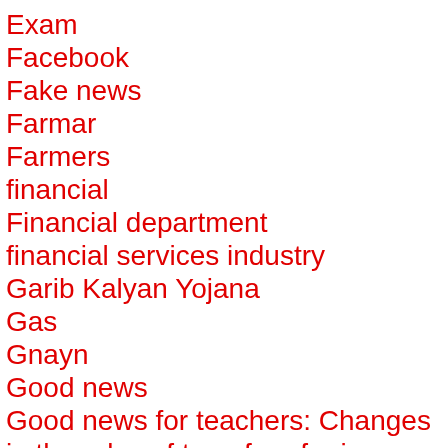Exam
Facebook
Fake news
Farmar
Farmers
financial
Financial department
financial services industry
Garib Kalyan Yojana
Gas
Gnayn
Good news
Good news for teachers: Changes in the rules of transfer of primary school teachers
Google
Government
Government jobs Canada
GPSC
Gseb